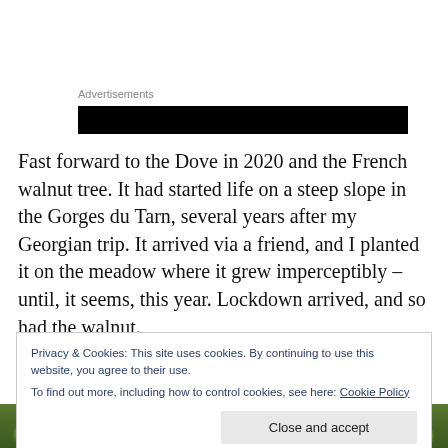Advertisements
[Figure (other): Black advertisement banner block]
Fast forward to the Dove in 2020 and the French walnut tree. It had started life on a steep slope in the Gorges du Tarn, several years after my Georgian trip. It arrived via a friend, and I planted it on the meadow where it grew imperceptibly – until, it seems, this year. Lockdown arrived, and so had the walnut.
Privacy & Cookies: This site uses cookies. By continuing to use this website, you agree to their use.
To find out more, including how to control cookies, see here: Cookie Policy
[Close and accept]
[Figure (photo): Photo strip at bottom showing green walnuts or similar round green fruits on a tree]